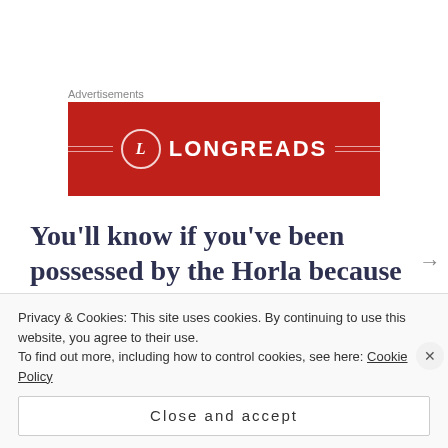Advertisements
[Figure (logo): Longreads advertisement banner — red background with LONGREADS logo text and decorative circle with L emblem]
You'll know if you've been possessed by the Horla because a greenish glowing rectangle will appear across both your eyes and you'll get a sudden uncontrollable urge to go all Norman Bates on someone with a fair-sized carving knife. There's a definite PSYCHO moment in
Privacy & Cookies: This site uses cookies. By continuing to use this website, you agree to their use.
To find out more, including how to control cookies, see here: Cookie Policy
Close and accept